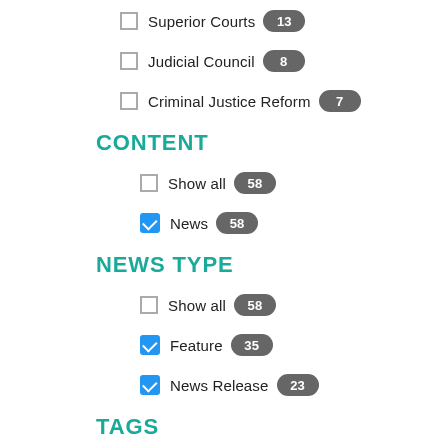Superior Courts 13
Judicial Council 8
Criminal Justice Reform 7
CONTENT
Show all 58
News 58
NEWS TYPE
Show all 58
Feature 35
News Release 23
TAGS